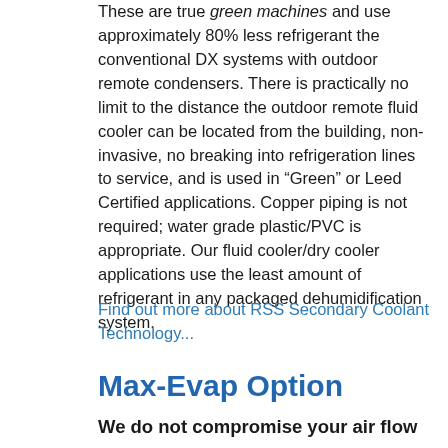These are true green machines and use approximately 80% less refrigerant the conventional DX systems with outdoor remote condensers. There is practically no limit to the distance the outdoor remote fluid cooler can be located from the building, non-invasive, no breaking into refrigeration lines to service, and is used in “Green” or Leed Certified applications. Copper piping is not required; water grade plastic/PVC is appropriate. Our fluid cooler/dry cooler applications use the least amount of refrigerant in any packaged dehumidification system.
Find out more about RSS Secondary Coolant Technology...
Max-Evap Option
We do not compromise your air flow